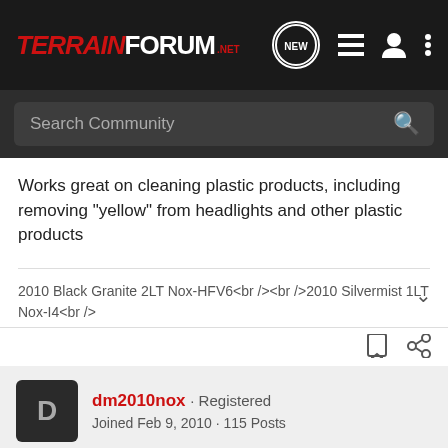TerrainForum.net
Search Community
Works great on cleaning plastic products, including removing "yellow" from headlights and other plastic products
2010 Black Granite 2LT Nox-HFV6<br /><br />2010 Silvermist 1LT Nox-I4<br />
dm2010nox · Registered
Joined Feb 9, 2010 · 115 Posts
#3 · Apr 19, 2010
FDNY600 said: